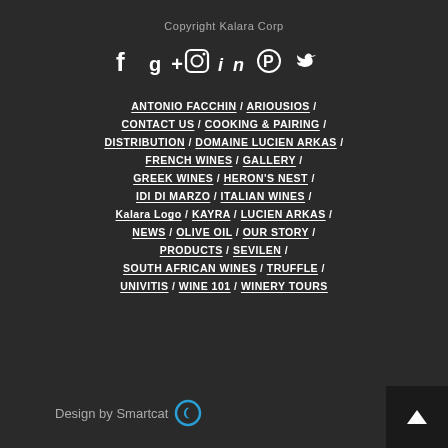Copyright Kalara Corp
[Figure (other): Social media icons: Facebook, Google+, Instagram, LinkedIn, Pinterest, Twitter]
ANTONIO FACCHIN / ARIOUSIOS / CONTACT US / COOKING & PAIRING / DISTRIBUTION / DOMAINE LUCIEN ARKAS / FRENCH WINES / GALLERY / GREEK WINES / HERON'S NEST / IDI DI MARZO / ITALIAN WINES / Kalara Logo / KAYRA / LUCIEN ARKAS / NEWS / OLIVE OIL / OUR STORY / PRODUCTS / SEVILEN / SOUTH AFRICAN WINES / TRUFFLE / UNIVITIS / WINE 101 / WINERY TOURS
Design by Smartcat